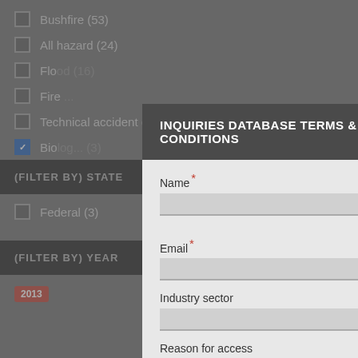Bushfire (53)
All hazard (24)
Flood (16)
Fire (...)
Technical accident (2)
Biolog... (3)
(FILTER BY) STATE
Federal (3)
(FILTER BY) YEAR
2013
[Figure (screenshot): Modal dialog overlay titled 'INQUIRIES DATABASE TERMS & CONDITIONS' with form fields: Name (required), Email (required), Industry sector, Reason for access (text input), and an Accept button.]
INQUIRIES DATABASE TERMS & CONDITIONS
Name*
Email*
Industry sector
Reason for access
Accept